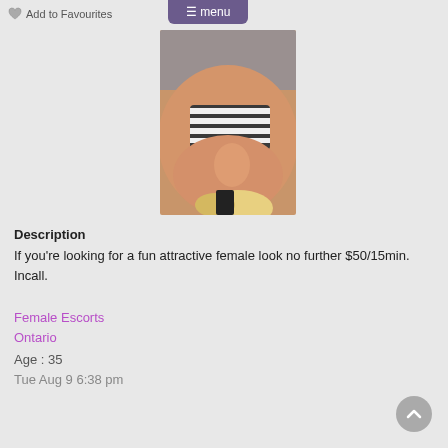Add to Favourites
≡ menu
[Figure (photo): Close-up photo of a person wearing a striped bikini top, with blonde hair visible, warm skin tones, taken from above]
Description
If you're looking for a fun attractive female look no further $50/15min. Incall.
Female Escorts
Ontario
Age : 35
Tue Aug 9 6:38 pm